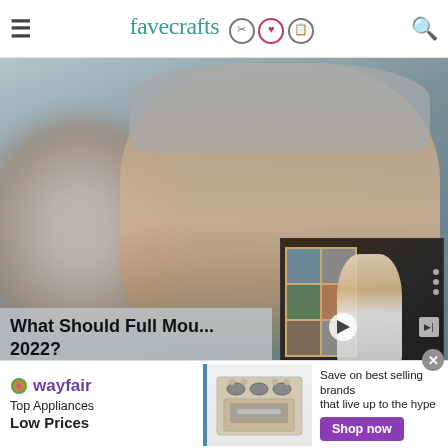favecrafts
[Figure (screenshot): Website screenshot of FaveCrafts showing a video player with a man smiling in a blurred foreground, and a smaller overlay video of a woman in front of a craft shelf. Below is the article title 'What Should Full Mou... 2022?' and a Wayfair advertisement banner at the bottom.]
What Should Full Mou... 2022?
[Figure (photo): Wayfair advertisement: Top Appliances Low Prices, showing a stove/range appliance image, with text 'Save on best selling brands that live up to the hype' and a purple 'Shop now' button.]